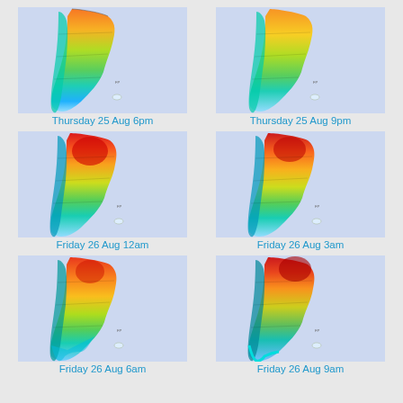[Figure (map): Weather/temperature map of Argentina and Chile showing color-coded temperature or wind data, Thursday 25 Aug 6pm]
Thursday 25 Aug 6pm
[Figure (map): Weather/temperature map of Argentina and Chile showing color-coded temperature or wind data, Thursday 25 Aug 9pm]
Thursday 25 Aug 9pm
[Figure (map): Weather/temperature map of Argentina and Chile showing color-coded temperature or wind data with red hot spot in north, Friday 26 Aug 12am]
Friday 26 Aug 12am
[Figure (map): Weather/temperature map of Argentina and Chile showing color-coded temperature or wind data with red hot spot in north, Friday 26 Aug 3am]
Friday 26 Aug 3am
[Figure (map): Weather/temperature map of Argentina and Chile showing color-coded temperature or wind data, Friday 26 Aug 6am]
Friday 26 Aug 6am
[Figure (map): Weather/temperature map of Argentina and Chile showing color-coded temperature or wind data with red hot spot in north, Friday 26 Aug 9am]
Friday 26 Aug 9am